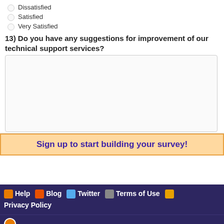Dissatisfied
Satisfied
Very Satisfied
13) Do you have any suggestions for improvement of our technical support services?
[text area input box]
Sign up to start building your survey!
Help  Blog  Twitter  Terms of Use  Privacy Policy
Create your own free online survey with SurveyShare.com, surveys done simple.